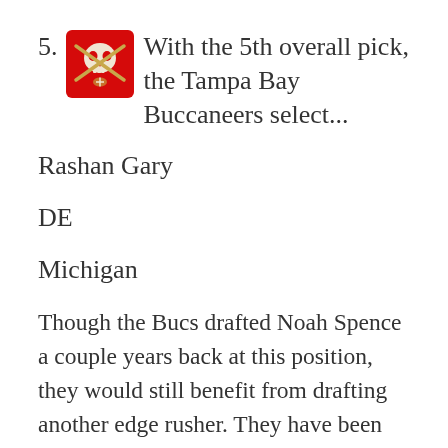5. With the 5th overall pick, the Tampa Bay Buccaneers select...
Rashan Gary
DE
Michigan
Though the Bucs drafted Noah Spence a couple years back at this position, they would still benefit from drafting another edge rusher. They have been linked frequently to Devin White since Kwon Alexander's departure, but I don't see it happening and trust Kendell Beckwith as the starting middle linebacker in